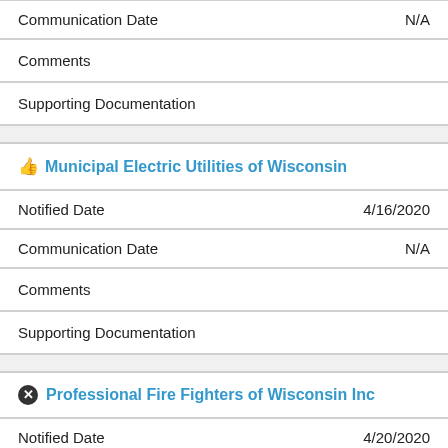| Communication Date | N/A |
| Comments |  |
| Supporting Documentation |  |
| 👍 Municipal Electric Utilities of Wisconsin |  |
| Notified Date | 4/16/2020 |
| Communication Date | N/A |
| Comments |  |
| Supporting Documentation |  |
| ⊗ Professional Fire Fighters of Wisconsin Inc |  |
| Notified Date | 4/20/2020 |